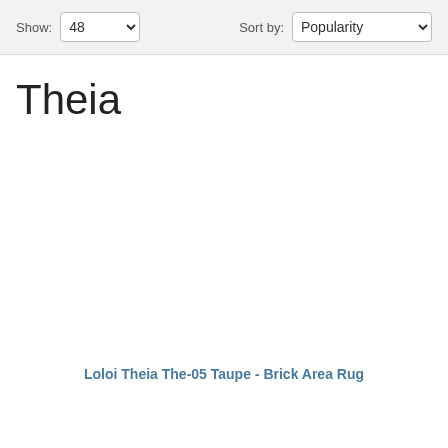Show: 48  Sort by: Popularity
Theia
Loloi Theia The-05 Taupe - Brick Area Rug